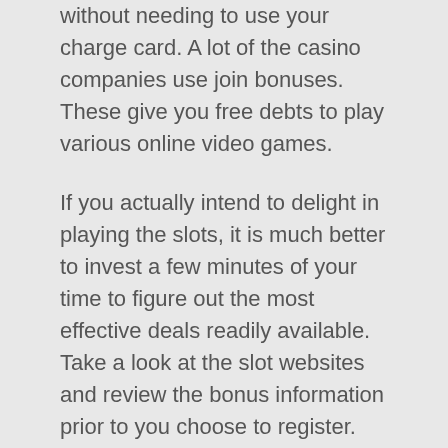without needing to use your charge card. A lot of the casino companies use join bonuses. These give you free debts to play various online video games.
If you actually intend to delight in playing the slots, it is much better to invest a few minutes of your time to figure out the most effective deals readily available. Take a look at the slot websites and review the bonus information prior to you choose to register. The totally free rotates used by most of the on the internet casinos are an exceptional way to win real cash.
Also you can visit BusinessWire media outlet portal to check the [url=https://siptrunkvoipbusinessphone.shop/]SIP Trunk VoIP Business Phone Solutions News, Reviews, Tips and Information[/url] and many more interesting